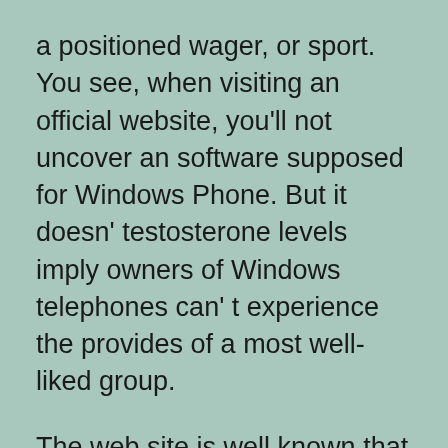a positioned wager, or sport. You see, when visiting an official website, you'll not uncover an software supposed for Windows Phone. But it doesn' testosterone levels imply owners of Windows telephones can' t experience the provides of a most well-liked group.
The web site is well known that advises 1xbet right now, a variety of probably the most essential shares and shares there and helps numerous specialties enhanced alternate options. In order to not take part within the bonus packages initially, you must take away the marker from the window reverse 'take half